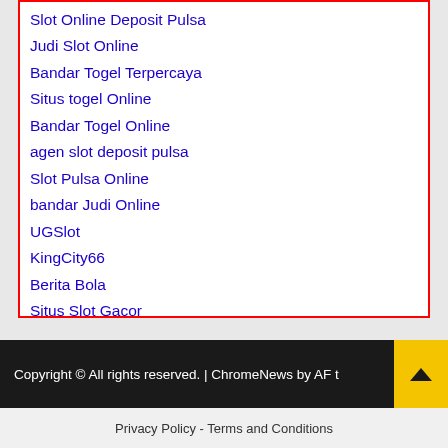Slot Online Deposit Pulsa
Judi Slot Online
Bandar Togel Terpercaya
Situs togel Online
Bandar Togel Online
agen slot deposit pulsa
Slot Pulsa Online
bandar Judi Online
UGSlot
KingCity66
Berita Bola
Situs Slot Gacor
Copyright © All rights reserved. | ChromeNews by AF t...s.
Privacy Policy - Terms and Conditions